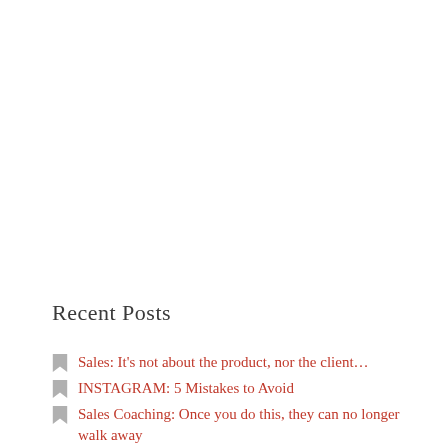Recent Posts
Sales: It's not about the product, nor the client…
INSTAGRAM: 5 Mistakes to Avoid
Sales Coaching: Once you do this, they can no longer walk away